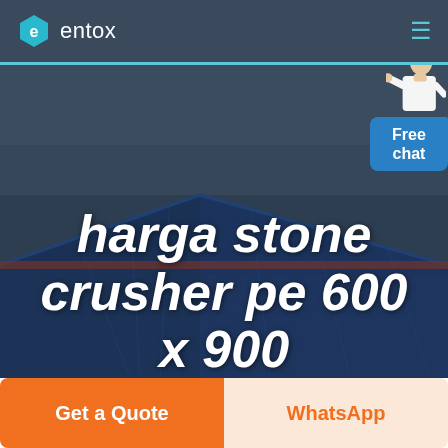entox
[Figure (photo): Aerial view of a large industrial facility with blue roofed warehouse buildings and surrounding infrastructure, used as hero background image]
[Figure (illustration): Free chat widget with person figure and blue bubble saying 'Free chat']
harga stone crusher pe 600 x 900
Get a Quote
WhatsApp